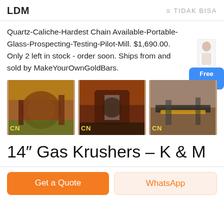LDM    ≡ TIDAK BISA
Quartz-Caliche-Hardest Chain Available-Portable-Glass-Prospecting-Testing-Pilot-Mill. $1,690.00. Only 2 left in stock - order soon. Ships from and sold by MakeYourOwnGoldBars.
[Figure (photo): Three images of industrial mining/crushing equipment with yellow 'CN' watermarks.]
14" Gas Krushers – K & M
Get a Quote
WhatsApp